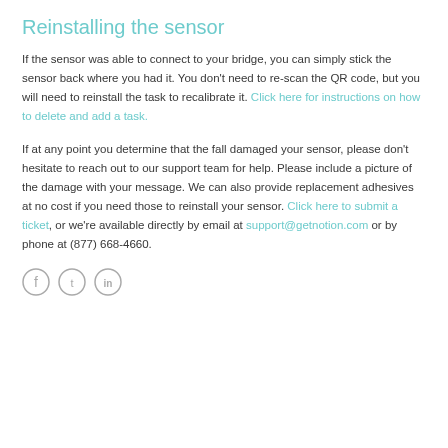Reinstalling the sensor
If the sensor was able to connect to your bridge, you can simply stick the sensor back where you had it. You don't need to re-scan the QR code, but you will need to reinstall the task to recalibrate it. Click here for instructions on how to delete and add a task.
If at any point you determine that the fall damaged your sensor, please don't hesitate to reach out to our support team for help. Please include a picture of the damage with your message. We can also provide replacement adhesives at no cost if you need those to reinstall your sensor. Click here to submit a ticket, or we're available directly by email at support@getnotion.com or by phone at (877) 668-4660.
[Figure (other): Row of three social media icons: Facebook, Twitter, LinkedIn]